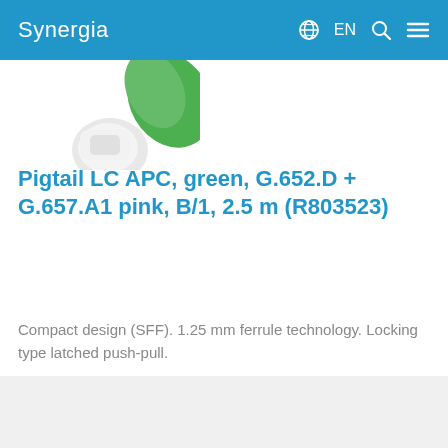Synergia   EN
[Figure (photo): Partial view of a fiber optic pigtail product with white connector and green fiber, cropped at top]
Pigtail LC APC, green, G.652.D + G.657.A1 pink, B/1, 2.5 m (R803523)
Compact design (SFF). 1.25 mm ferrule technology. Locking type latched push-pull.
Артикул: R803523